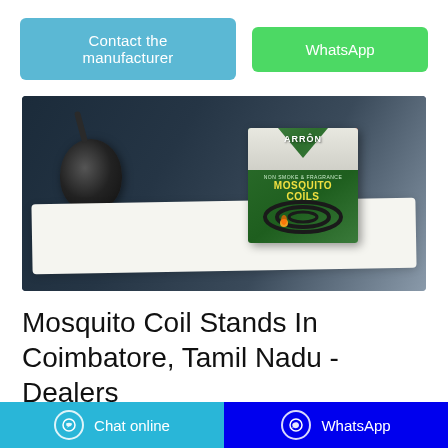[Figure (other): Two buttons: 'Contact the manufacturer' (teal/blue) and 'WhatsApp' (green)]
[Figure (photo): Product photo showing Arrow brand Mosquito Coils box on white fabric with dark vase in background]
Mosquito Coil Stands In Coimbatore, Tamil Nadu - Dealers ...
[Figure (other): Bottom bar with 'Chat online' button (cyan) and 'WhatsApp' button (blue)]